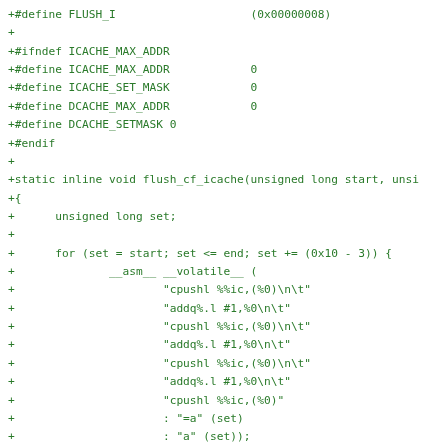+#define FLUSH_I                    (0x00000008)
+
+#ifndef ICACHE_MAX_ADDR
+#define ICACHE_MAX_ADDR            0
+#define ICACHE_SET_MASK            0
+#define DCACHE_MAX_ADDR            0
+#define DCACHE_SETMASK 0
+#endif
+
+static inline void flush_cf_icache(unsigned long start, unsi
+{
+      unsigned long set;
+
+      for (set = start; set <= end; set += (0x10 - 3)) {
+              __asm__ __volatile__ (
+                      "cpushl %%ic,(%0)\n\t"
+                      "addq%.l #1,%0\n\t"
+                      "cpushl %%ic,(%0)\n\t"
+                      "addq%.l #1,%0\n\t"
+                      "cpushl %%ic,(%0)\n\t"
+                      "addq%.l #1,%0\n\t"
+                      "cpushl %%ic,(%0)"
+                      : "=a" (set)
+                      : "a" (set));
+      }